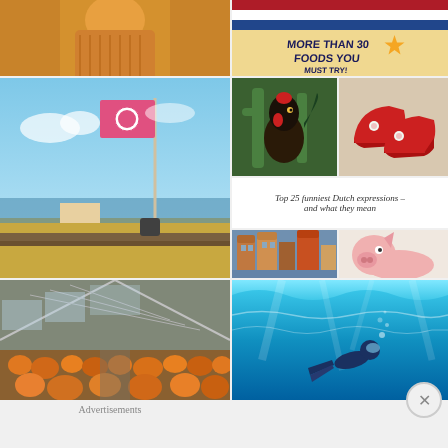[Figure (photo): Person in orange/yellow knit sweater]
[Figure (photo): More than 30 foods you must try - Dutch flag graphic]
[Figure (photo): Landscape with flag pole bearing red/white circular flag, blue sky]
[Figure (photo): Rooster bird on green background]
[Figure (photo): Red Dutch clogs with floral decoration]
Top 25 funniest Dutch expressions – and what they mean
[Figure (photo): Amsterdam canal houses]
[Figure (photo): Pink baby pig]
[Figure (photo): Greenhouse interior with pumpkins and plants]
[Figure (photo): Underwater snorkeling scene with turquoise water]
Advertisements